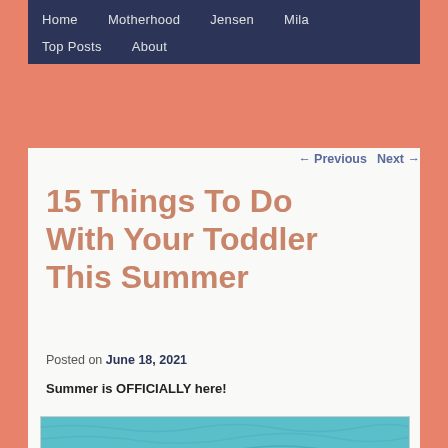Home  Motherhood  Jensen  Mila  Top Posts  About
← Previous   Next →
15 Things To Do With Your Toddler This Summer
Posted on June 18, 2021
Summer is OFFICIALLY here!
[Figure (photo): A toddler floating in a bright blue swimming pool, viewed from above, turquoise water with ripples]